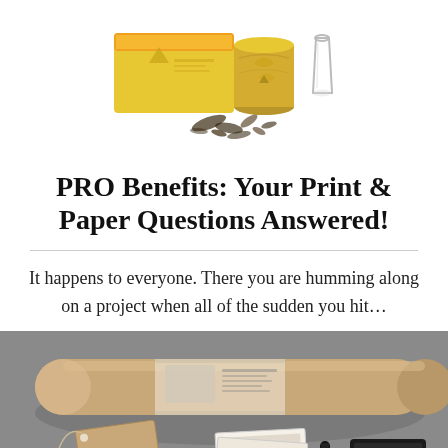[Figure (photo): Photo of yellow and gold tea product packaging — box, canister, and glass on a white background with loose tea leaves scattered in front.]
PRO Benefits: Your Print & Paper Questions Answered!
It happens to everyone. There you are humming along on a project when all of the sudden you hit…
[Figure (photo): Photo of a rolled brown kraft paper tube with a tag, small printed cards, and a black ink stamp on a grey background.]